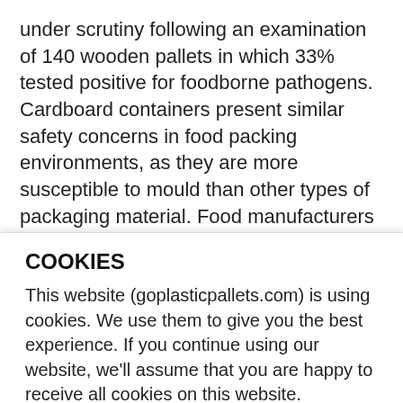under scrutiny following an examination of 140 wooden pallets in which 33% tested positive for foodborne pathogens. Cardboard containers present similar safety concerns in food packing environments, as they are more susceptible to mould than other types of packaging material. Food manufacturers should seriously consider using more hygienic alternatives, like plastic, to ensure they are not putting their staff and customers at risk. We've recently taken orders from Nestlé UK, Kellogg's, Cadbury Kenya Ltd and Vion Food for our plastic containers and pallets.
COOKIES
This website (goplasticpallets.com) is using cookies. We use them to give you the best experience. If you continue using our website, we'll assume that you are happy to receive all cookies on this website.
ACCEPT | Read our Cookie Policy
no sound when both erected and folded down, to reduce noise pollution in food packing areas, and only available in the